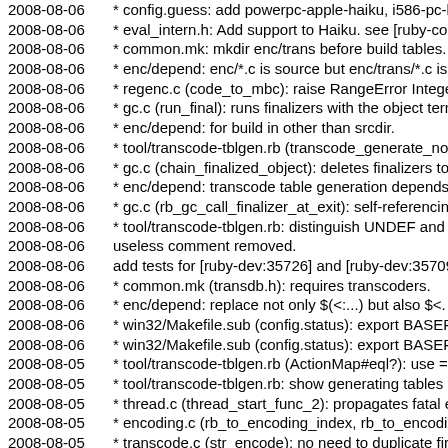2008-08-06  * config.guess: add powerpc-apple-haiku, i586-pc-haiku
2008-08-06  * eval_intern.h: Add support to Haiku. see [ruby-core:1
2008-08-06  * common.mk: mkdir enc/trans before build tables.
2008-08-06  * enc/depend: enc/*.c is source but enc/trans/*.c is gen
2008-08-06  * regenc.c (code_to_mbc): raise RangeError Integer#c
2008-08-06  * gc.c (run_final): runs finalizers with the object termina
2008-08-06  * enc/depend: for build in other than srcdir.
2008-08-06  * tool/transcode-tblgen.rb (transcode_generate_node):
2008-08-06  * gc.c (chain_finalized_object): deletes finalizers to be
2008-08-06  * enc/depend: transcode table generation depends on
2008-08-06  * gc.c (rb_gc_call_finalizer_at_exit): self-referencing fin
2008-08-06  * tool/transcode-tblgen.rb: distinguish UNDEF and INV
2008-08-06  useless comment removed.
2008-08-06  add tests for [ruby-dev:35726] and [ruby-dev:35709].
2008-08-06  * common.mk (transdb.h): requires transcoders.
2008-08-06  * enc/depend: replace not only $(<:...) but also $<.
2008-08-06  * win32/Makefile.sub (config.status): export BASERUB
2008-08-06  * win32/Makefile.sub (config.status): export BASERUB
2008-08-05  * tool/transcode-tblgen.rb (ActionMap#eql?): use == to
2008-08-05  * tool/transcode-tblgen.rb: show generating tables in ve
2008-08-05  * thread.c (thread_start_func_2): propagates fatal error
2008-08-05  * encoding.c (rb_to_encoding_index, rb_to_encoding):
2008-08-05  * transcode.c (str_encode): no need to duplicate first.
2008-08-05  * array.c (rb_ary_sort_bang): reset to real class.
2008-08-05  * common.mk (transcodes), tool/build-transcode: gene
2008-08-05  * 2008-08-06